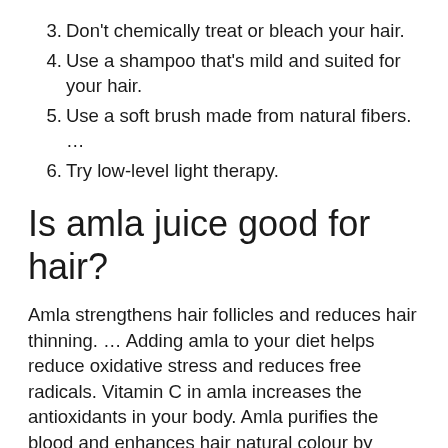3. Don't chemically treat or bleach your hair.
4. Use a shampoo that's mild and suited for your hair.
5. Use a soft brush made from natural fibers. …
6. Try low-level light therapy.
Is amla juice good for hair?
Amla strengthens hair follicles and reduces hair thinning. … Adding amla to your diet helps reduce oxidative stress and reduces free radicals. Vitamin C in amla increases the antioxidants in your body. Amla purifies the blood and enhances hair natural colour by preventing premature greying of hair.